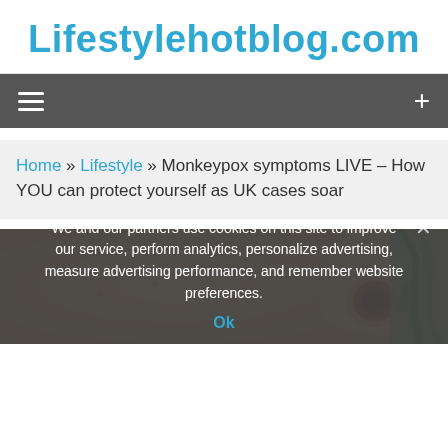Lifestylehotblog.com
Monkeypox symptoms LIVE – How YOU can protect yourself as UK cases soar
[Figure (photo): Close-up photo of a hand/finger showing a monkeypox skin lesion — a dark scab-like sore on the fingertip, with small spots on surrounding skin and a colorful tattoo visible in the background.]
We and our partners use cookies on this site to improve our service, perform analytics, personalize advertising, measure advertising performance, and remember website preferences.